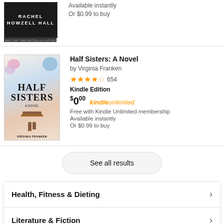[Figure (illustration): Book cover of a dark novel by Rachel Howzell Hall showing author name on dark background]
Available instantly
Or $0.99 to buy
[Figure (illustration): Book cover of Half Sisters: A Novel by Virginia Franken, with illustrated bedroom scene]
Half Sisters: A Novel
by Virginia Franken
★★★★☆ 654
Kindle Edition
$000 kindleunlimited
Free with Kindle Unlimited membership
Available instantly
Or $0.99 to buy
See all results
Health, Fitness & Dieting
Literature & Fiction
Mystery, Thriller & Suspense